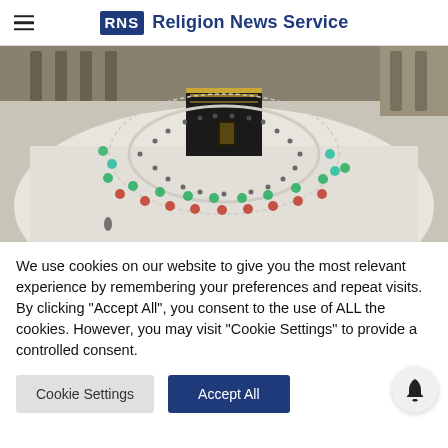RNS Religion News Service
[Figure (photo): Aerial view of the Kaaba in Mecca surrounded by pilgrims performing Tawaf, with colorful umbrellas visible among the crowd on the white marble floor of the Grand Mosque.]
We use cookies on our website to give you the most relevant experience by remembering your preferences and repeat visits. By clicking "Accept All", you consent to the use of ALL the cookies. However, you may visit "Cookie Settings" to provide a controlled consent.
Cookie Settings
Accept All